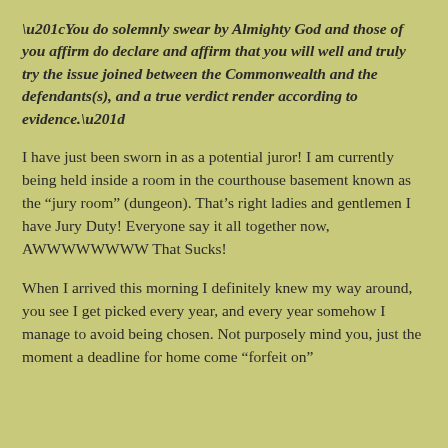“You do solemnly swear by Almighty God and those of you affirm do declare and affirm that you will well and truly try the issue joined between the Commonwealth and the defendants(s), and a true verdict render according to evidence.”
I have just been sworn in as a potential juror! I am currently being held inside a room in the courthouse basement known as the “jury room” (dungeon). That’s right ladies and gentlemen I have Jury Duty! Everyone say it all together now, AWWWWWWWW That Sucks!
When I arrived this morning I definitely knew my way around, you see I get picked every year, and every year somehow I manage to avoid being chosen. Not purposely mind you, just the moment a deadline for home come “forfeit on”